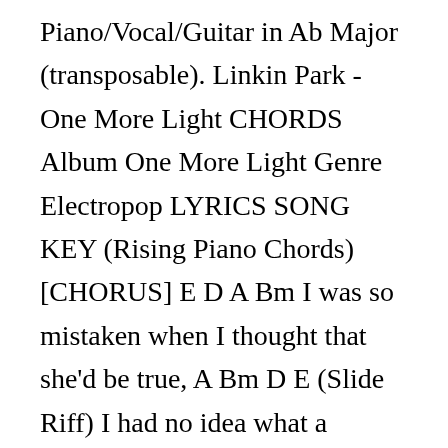Piano/Vocal/Guitar in Ab Major (transposable). Linkin Park - One More Light CHORDS Album One More Light Genre Electropop LYRICS SONG KEY (Rising Piano Chords) [CHORUS] E D A Bm I was so mistaken when I thought that she'd be true, A Bm D E (Slide Riff) I had no idea what a woman in love would do! Details. 03:50. Get DJ recommendations for harmonic mixing. (Rising Piano Chords) CHORUS. This song has no tabs yet This chords is contributed by Chord Imperfect. for Piano (Solo) [A# F# C#